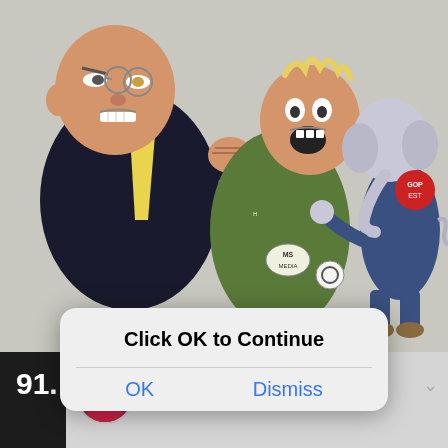[Figure (illustration): Political cartoon showing caricatures of figures punching/fighting, with a character wearing a 'MS MEDIA' badge and Hillary Clinton button, and a Republican elephant character in a blue suit with 'GOP EST' badge on right side. Background is light gray.]
91.
[Figure (screenshot): Modal dialog overlay on a dark background with 'Click OK to Continue' title and two blue text buttons: 'OK' and 'Dismiss'. Behind it is a Twitter/social media post from Liz Wheeler.]
Liz Wheeler @Liz_Wheeler
Can you imagine if a former morgue employee was found with the dead bodies of 2,246 people stashed in his home?